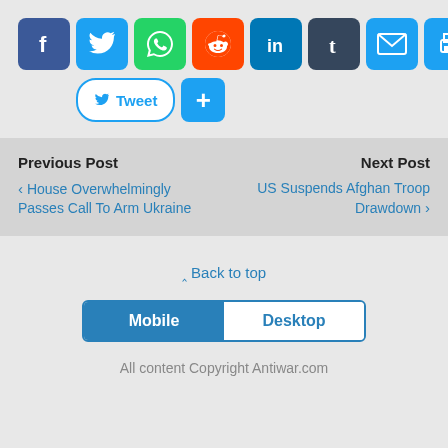[Figure (other): Social media sharing buttons: Facebook, Twitter, WhatsApp, Reddit, LinkedIn, Tumblr, Email, Print icons, plus Tweet button and + button]
Previous Post
< House Overwhelmingly Passes Call To Arm Ukraine
Next Post
US Suspends Afghan Troop Drawdown >
⇧ Back to top
Mobile
Desktop
All content Copyright Antiwar.com